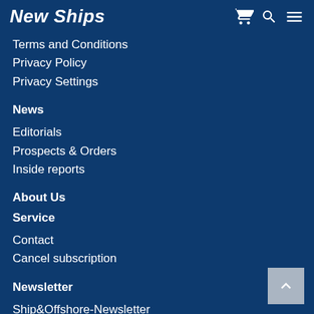New Ships
Terms and Conditions
Privacy Policy
Privacy Settings
News
Editorials
Prospects & Orders
Inside reports
About Us
Service
Contact
Cancel subscription
Newsletter
Ship&Offshore-Newsletter